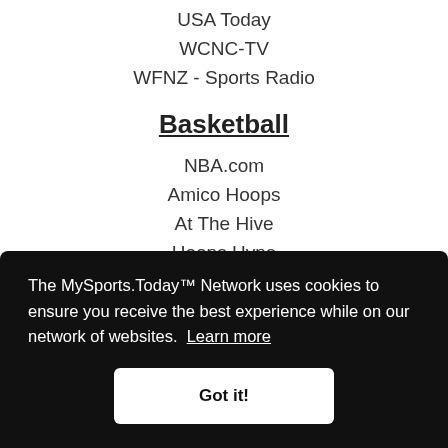USA Today
WCNC-TV
WFNZ - Sports Radio
Basketball
NBA.com
Amico Hoops
At The Hive
Hoops Hype
Hoops Rumors
The MySports.Today™ Network uses cookies to ensure you receive the best experience while on our network of websites. Learn more
Got it!
Carolina Cat Chronicles